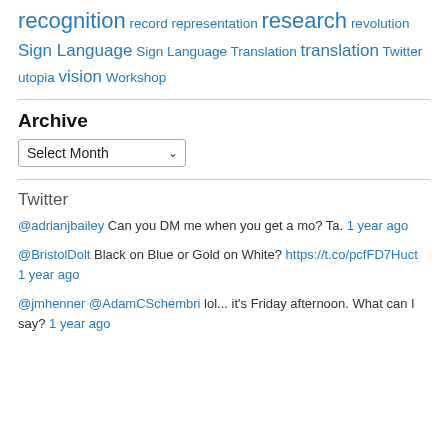recognition record representation research revolution Sign Language Sign Language Translation translation Twitter utopia vision Workshop
Archive
Select Month (dropdown)
Twitter
@adrianjbailey Can you DM me when you get a mo? Ta. 1 year ago
@BristolDolt Black on Blue or Gold on White? https://t.co/pcfFD7Huct 1 year ago
@jmhenner @AdamCSchembri lol... it's Friday afternoon. What can I say? 1 year ago